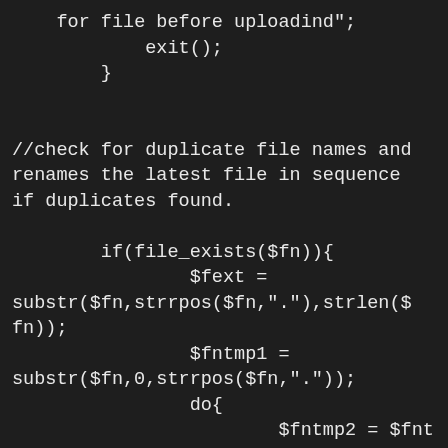for file before uploadind";
        exit();
    }


//check for duplicate file names and renames the latest file in sequence if duplicates found.

        if(file_exists($fn)){
            $fext = substr($fn,strrpos($fn,"."),strlen($fn));
            $fntmp1 = substr($fn,0,strrpos($fn,"."));
            do{
                    $fntmp2 = $fntmp1.("copy($i)").$fext;
                    $i